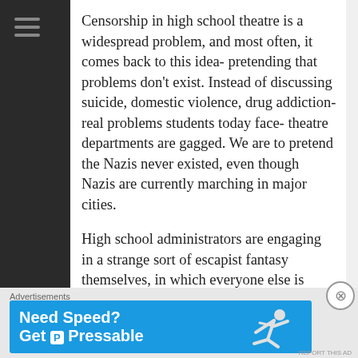Censorship in high school theatre is a widespread problem, and most often, it comes back to this idea- pretending that problems don't exist. Instead of discussing suicide, domestic violence, drug addiction- real problems students today face- theatre departments are gagged. We are to pretend the Nazis never existed, even though Nazis are currently marching in major cities.

High school administrators are engaging in a strange sort of escapist fantasy themselves, in which everyone else is aware of the problems, but the...
[Figure (other): Advertisement banner for Pressable hosting service with blue background, showing 'Need Speed? Get [P] Pressable' text and a figure of a person leaping/flying]